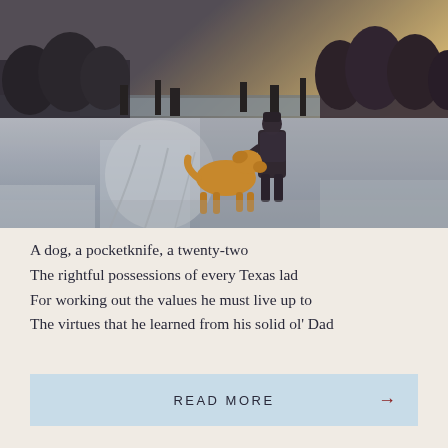[Figure (photo): A person walking with a golden/brown dog on a snowy or frosty rural path near a lake or river, trees in the background, warm golden sunlight in the upper right, wintry atmospheric scene.]
A dog, a pocketknife, a twenty-two
The rightful possessions of every Texas lad
For working out the values he must live up to
The virtues that he learned from his solid ol' Dad
READ MORE →